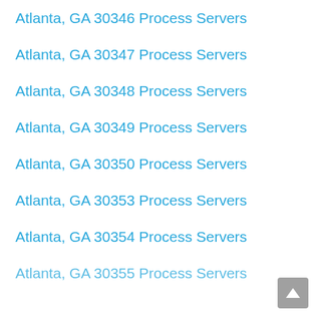Atlanta, GA 30346 Process Servers
Atlanta, GA 30347 Process Servers
Atlanta, GA 30348 Process Servers
Atlanta, GA 30349 Process Servers
Atlanta, GA 30350 Process Servers
Atlanta, GA 30353 Process Servers
Atlanta, GA 30354 Process Servers
Atlanta, GA 30355 Process Servers